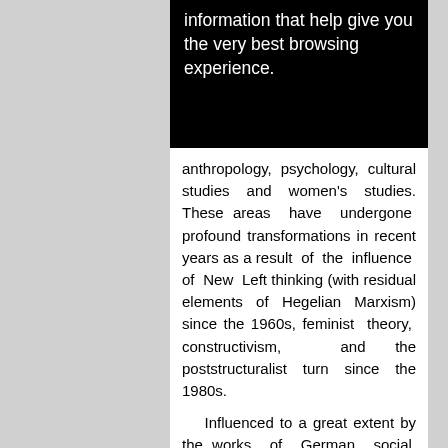[Figure (screenshot): Black banner with white text reading 'information that help give you the very best browsing experience.']
anthropology, psychology, cultural studies and women's studies. These areas have undergone profound transformations in recent years as a result of the influence of New Left thinking (with residual elements of Hegelian Marxism) since the 1960s, feminist theory, constructivism, and the poststructuralist turn since the 1980s.

Influenced to a great extent by the works of German social theorist Juergen Habermas and Italian Marxist writer Antonio Gramsci, critical theory acknowledges the political interests driving theory itself and the unity of empirical research with human emancipation. The concept of emancipation has featured in Kenneth